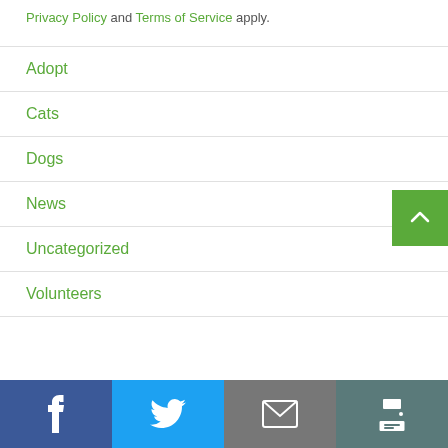Privacy Policy and Terms of Service apply.
Adopt
Cats
Dogs
News
Uncategorized
Volunteers
Facebook | Twitter | Email | Print